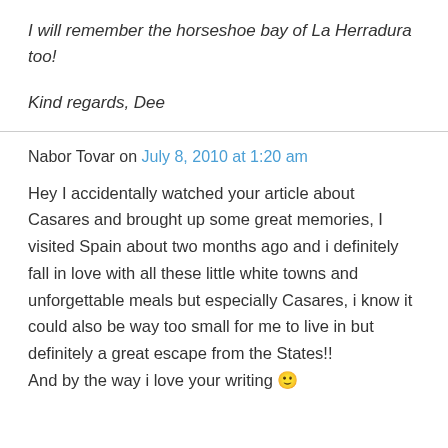I will remember the horseshoe bay of La Herradura too!
Kind regards, Dee
Nabor Tovar on July 8, 2010 at 1:20 am
Hey I accidentally watched your article about Casares and brought up some great memories, I visited Spain about two months ago and i definitely fall in love with all these little white towns and unforgettable meals but especially Casares, i know it could also be way too small for me to live in but definitely a great escape from the States!! And by the way i love your writing 🙂